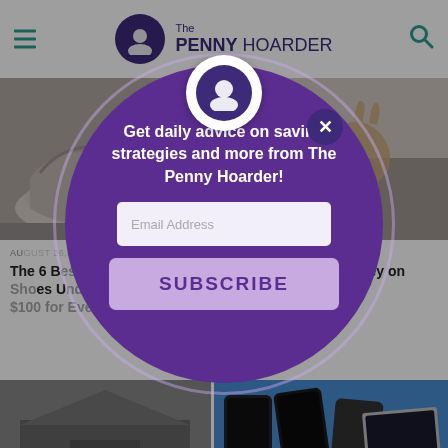The Penny Hoarder
[Figure (photo): Two side-by-side photos: left shows running shoe close-up, right shows hands]
AUGUST 26, 2022
The 6 Best Walking Shoes Under $100 for Every Type...
AUGUST 26, 2022
6 Ways to Save Money on Hearing Aids With Medicare
...an, CEPF®
[Figure (screenshot): Newsletter signup modal popup overlay with circular purple design. Contains Penny Hoarder logo, close button (X), text 'Get daily advice on saving strategies and more from The Penny Hoarder!', email address input field, and SUBSCRIBE button.]
[Figure (photo): Two side-by-side photos: left shows home interior in black and white, right shows iPhones and MacBooks on blue background]
AUGUST 25, 2022
10 Ways to Trim Costs and Save Big on Home...
AUGUST 25, 2022
Is Buying a Refurbished iPhone or MacBook Worth...